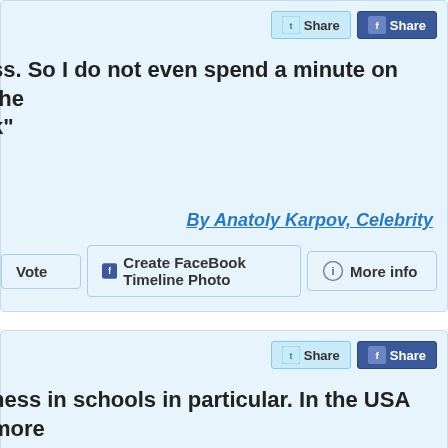[Figure (screenshot): Social media share buttons card 1 with Twitter Share and Facebook Share buttons]
ss. So I do not even spend a minute on the k"
By Anatoly Karpov, Celebrity
Vote  Create FaceBook Timeline Photo  More info
[Figure (screenshot): Social media share buttons card 2 with Twitter Share and Facebook Share buttons]
ness in schools in particular. In the USA more npeted in an event"